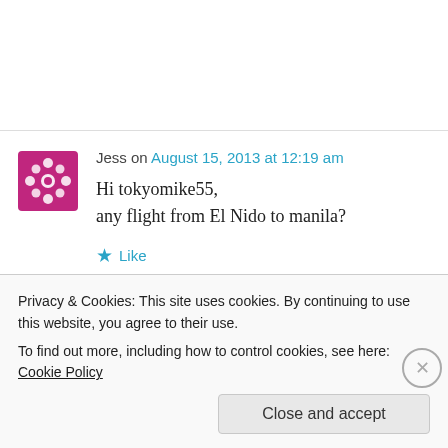Jess on August 15, 2013 at 12:19 am
Hi tokyomike55,
any flight from El Nido to manila?
★ Like
↵ Reply
Privacy & Cookies: This site uses cookies. By continuing to use this website, you agree to their use.
To find out more, including how to control cookies, see here: Cookie Policy
Close and accept